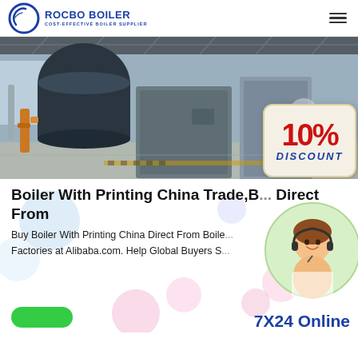[Figure (logo): Rocbo Boiler logo with circular emblem and text 'ROCBO BOILER, COST-EFFECTIVE BOILER SUPPLIER']
[Figure (photo): Industrial boiler equipment inside a factory/warehouse facility. Large cylindrical boiler and rectangular metal units visible. A 10% DISCOUNT badge overlaid on lower right.]
Boiler With Printing China Trade,B... Direct From
Buy Boiler With Printing China Direct From Boile... Factories at Alibaba.com. Help Global Buyers S...
[Figure (photo): Customer service representative with headset, smiling, shown in circular frame with green background]
7X24 Online